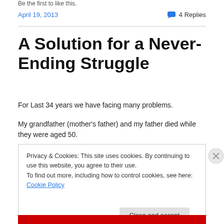Be the first to like this.
April 19, 2013
4 Replies
A Solution for a Never-Ending Struggle
For Last 34 years we have facing many problems.
My grandfather (mother's father) and my father died while they were aged 50.
Privacy & Cookies: This site uses cookies. By continuing to use this website, you agree to their use.
To find out more, including how to control cookies, see here: Cookie Policy
Close and accept